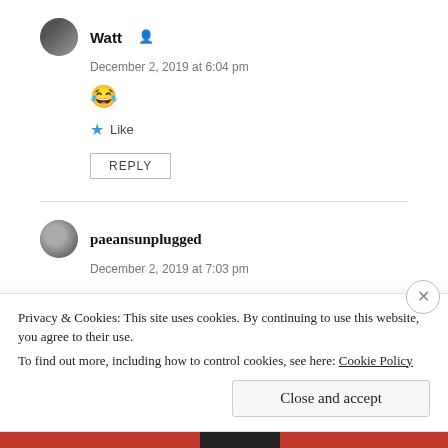Watt
December 2, 2019 at 6:04 pm
😂
★ Like
REPLY
paeansunplugged
December 2, 2019 at 7:03 pm
Privacy & Cookies: This site uses cookies. By continuing to use this website, you agree to their use.
To find out more, including how to control cookies, see here: Cookie Policy
Close and accept